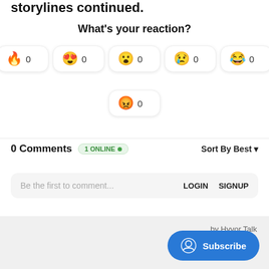storylines continued.
What's your reaction?
🔥 0  😍 0  😮 0  😢 0  😂 0  😡 0
0 Comments  1 ONLINE  Sort By Best
Be the first to comment...  LOGIN  SIGNUP
by Hyvor Talk
Subscribe